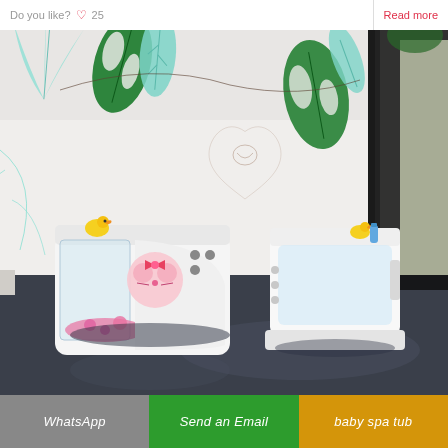Do you like? ♡ 25
Read more
[Figure (photo): Interior photo of a baby spa room with white walls decorated with tropical leaf murals (green monstera and teal/mint palm leaves). Two white baby spa tubs are visible on a dark marble/granite floor. The left tub has a glass front and a pink Hello Kitty decoration with a yellow rubber duck. The right tub is a standard white baby bath. A black curtain hangs near a bright window on the right. A decorative heart with baby illustration is painted on the wall above the tubs.]
WhatsApp
Send an Email
baby spa tub